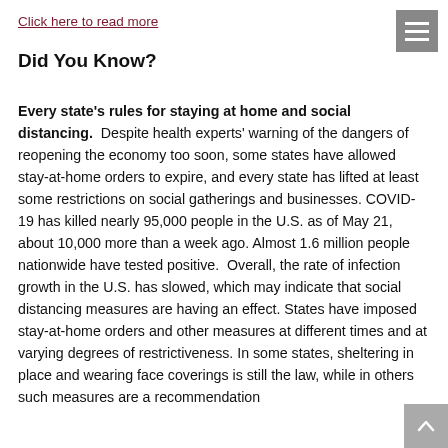Click here to read more
Did You Know?
Every state's rules for staying at home and social distancing. Despite health experts' warning of the dangers of reopening the economy too soon, some states have allowed stay-at-home orders to expire, and every state has lifted at least some restrictions on social gatherings and businesses. COVID-19 has killed nearly 95,000 people in the U.S. as of May 21, about 10,000 more than a week ago. Almost 1.6 million people nationwide have tested positive. Overall, the rate of infection growth in the U.S. has slowed, which may indicate that social distancing measures are having an effect. States have imposed stay-at-home orders and other measures at different times and at varying degrees of restrictiveness. In some states, sheltering in place and wearing face coverings is still the law, while in others such measures are a recommendation